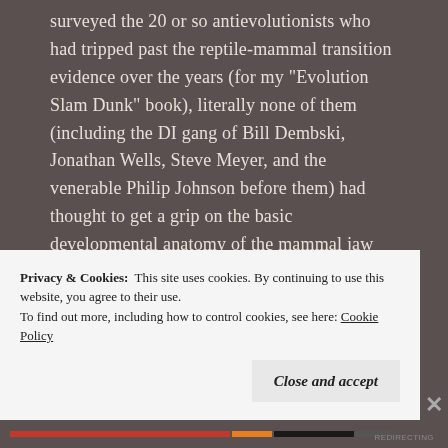surveyed the 20 or so antievolutionists who had tripped past the reptile-mammal transition evidence over the years (for my "Evolution Slam Dunk" book), literally none of them (including the DI gang of Bill Dembski, Jonathan Wells, Steve Meyer, and the venerable Philip Johnson before them) had thought to get a grip on the basic developmental anatomy of the mammal jaw first (which had been known, of course, since the 1830s to have the reptilian amniotic layout of the full complement of jaw bones in embryo, and only reconfiguring to our dentary-squamosal layout during maturation, a process all too blatantly tracked further and directly in the fossil
Privacy & Cookies: This site uses cookies. By continuing to use this website, you agree to their use.
To find out more, including how to control cookies, see here: Cookie Policy
Close and accept